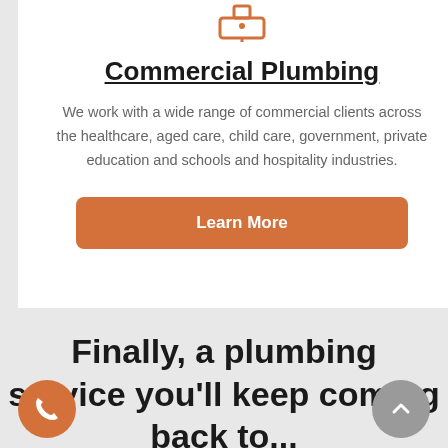[Figure (illustration): Orange plumbing/sink icon at top of white card]
Commercial Plumbing
We work with a wide range of commercial clients across the healthcare, aged care, child care, government, private education and schools and hospitality industries.
Learn More
Finally, a plumbing service you'll keep coming back to...
[Figure (illustration): Orange circular phone call button (bottom left)]
[Figure (illustration): Gray circular scroll-to-top button with chevron (bottom right)]